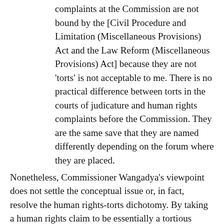complaints at the Commission are not bound by the [Civil Procedure and Limitation (Miscellaneous Provisions) Act and the Law Reform (Miscellaneous Provisions) Act] because they are not 'torts' is not acceptable to me. There is no practical difference between torts in the courts of judicature and human rights complaints before the Commission. They are the same save that they are named differently depending on the forum where they are placed.
Nonetheless, Commissioner Wangadya's viewpoint does not settle the conceptual issue or, in fact, resolve the human rights-torts dichotomy. By taking a human rights claim to be essentially a tortious claim – more so in the context of the law on loss of dependency (Law Reform (Miscellaneous Provisions) Act) – this fails to draw